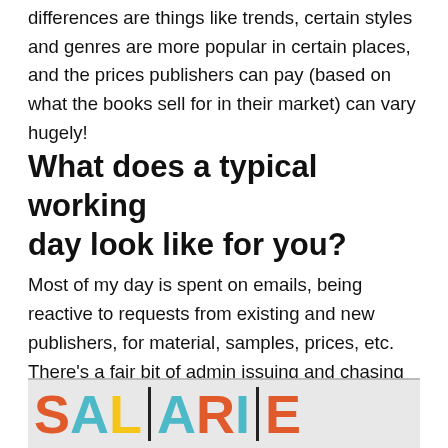differences are things like trends, certain styles and genres are more popular in certain places, and the prices publishers can pay (based on what the books sell for in their market) can vary hugely!
What does a typical working day look like for you?
Most of my day is spent on emails, being reactive to requests from existing and new publishers, for material, samples, prices, etc. There’s a fair bit of admin issuing and chasing contracts and invoices, approving files and so on. Then there’s the annual cycle of catalogues, presentation material and book fairs to organise.
[Figure (photo): Partially visible colorful signs spelling out SALARY with bold multicolored letters on a white background, with a dark border visible on the right panel.]